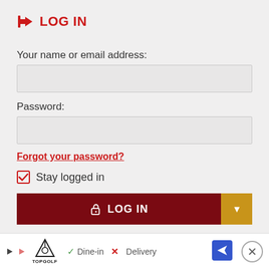LOG IN
Your name or email address:
Password:
Forgot your password?
Stay logged in
LOG IN
Don't have an account? Register now
[Figure (screenshot): Ad banner with Topgolf logo, Dine-in checkmark, X Delivery, navigation arrow icon, and close button]